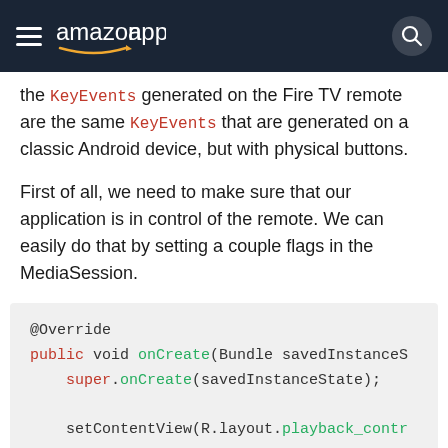amazon appstore
the KeyEvents generated on the Fire TV remote are the same KeyEvents that are generated on a classic Android device, but with physical buttons.
First of all, we need to make sure that our application is in control of the remote. We can easily do that by setting a couple flags in the MediaSession.
@Override
public void onCreate(Bundle savedInstanceS
    super.onCreate(savedInstanceState);
    setContentView(R.layout.playback_contr

    ...